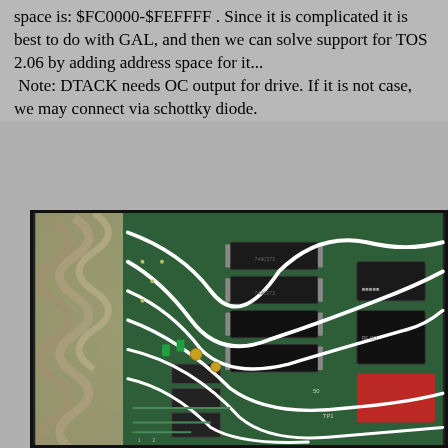space is: $FC0000-$FEFFFF . Since it is complicated it is best to do with GAL, and then we can solve support for TOS 2.06 by adding address space for it...
 Note: DTACK needs OC output for drive. If it is not case, we may connect via schottky diode.
[Figure (photo): Close-up photograph of a computer circuit board (PCB) with multiple integrated circuit chips, white wires routed across the board, and a spiral cable visible on the left side. The board appears to be an Atari ST or similar vintage computer motherboard with various modifications.]